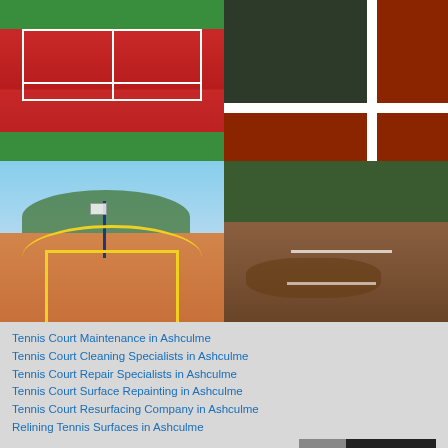[Figure (photo): Red and green tennis court viewed from above, with white court lines]
[Figure (photo): Close-up of rubber/tarmac sports court surface in dark green and red with white line marking]
[Figure (photo): Red basketball court with yellow key markings, basketball hoop pole, trees and blue sky in background]
[Figure (photo): Deteriorated tennis court with debris and leaves, surrounded by overgrown vegetation and fence]
Tennis Court Maintenance in Ashculme
Tennis Court Cleaning Specialists in Ashculme
Tennis Court Repair Specialists in Ashculme
Tennis Court Surface Repainting in Ashculme
Tennis Court Resurfacing Company in Ashculme
Relining Tennis Surfaces in Ashculme